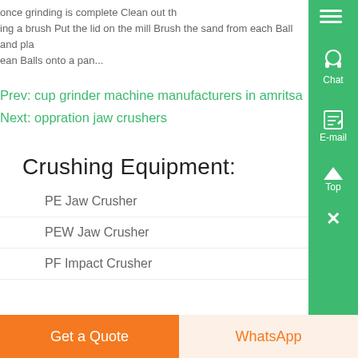once grinding is complete Clean out the ing a brush Put the lid on the mill Brush the sand from each Ball and pla ean Balls onto a pan...
Prev: cup grinder machine manufacturers in amritsa
Next: oppration jaw crushers
Crushing Equipment:
PE Jaw Crusher
PEW Jaw Crusher
PF Impact Crusher
Get a Quote
WhatsApp